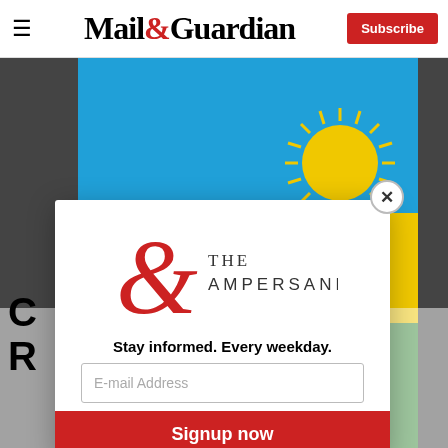Mail&Guardian — Subscribe
[Figure (photo): Rwanda flag with blue, yellow and green sections and sun symbol, with 'RWANDA' text visible in background]
C... R...
[Figure (illustration): The Ampersand newsletter logo — large red ampersand with THE AMPERSAND text]
Stay informed. Every weekday.
E-mail Address
Signup now